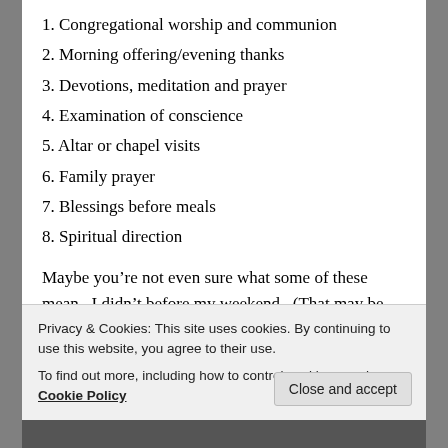1. Congregational worship and communion
2. Morning offering/evening thanks
3. Devotions, meditation and prayer
4. Examination of conscience
5. Altar or chapel visits
6. Family prayer
7. Blessings before meals
8. Spiritual direction
Maybe you’re not even sure what some of these mean.  I didn’t before my weekend.  (That may be the topic for another post).  Maybe you think it sounds a little mechanical, or even legalistic (Those are dangers, for sure.  It is possible to become a “routine Rita” simply
Privacy & Cookies: This site uses cookies. By continuing to use this website, you agree to their use.
To find out more, including how to control cookies, see here: Cookie Policy